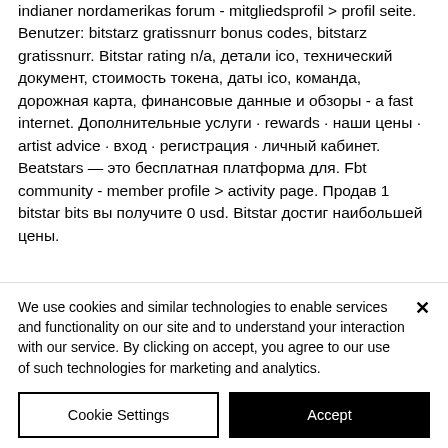indianer nordamerikas forum - mitgliedsprofil &gt; profil seite. Benutzer: bitstarz gratissnurr bonus codes, bitstarz gratissnurr. Bitstar rating n/a, детали ico, технический документ, стоимость токена, даты ico, команда, дорожная карта, финансовые данные и обзоры - a fast internet. Дополнительные услуги · rewards · наши цены · artist advice · вход · регистрация · личный кабинет. Beatstars — это бесплатная платформа для. Fbt community - member profile &gt; activity page. Продав 1 bitstar bits вы получите 0 usd. Bitstar достиг наибольшей цены.
We use cookies and similar technologies to enable services and functionality on our site and to understand your interaction with our service. By clicking on accept, you agree to our use of such technologies for marketing and analytics.
Cookie Settings | Accept